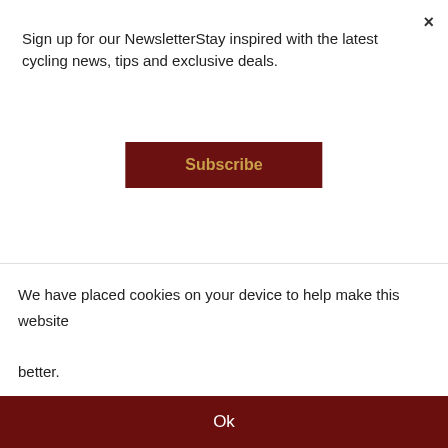Sign up for our NewsletterStay inspired with the latest cycling news, tips and exclusive deals.
Subscribe
Kross Thermal WaterBottle 500ml
£14.99 inc VAT
Description
We have placed cookies on your device to help make this website better.
Ok